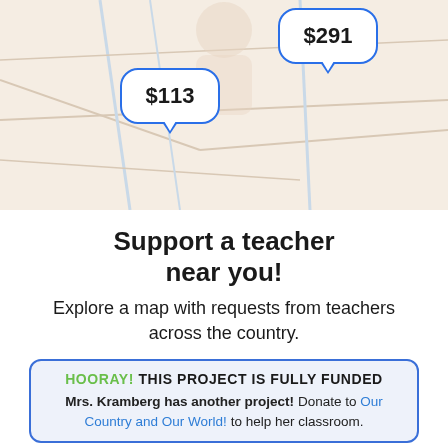[Figure (map): Map background showing geographic area with two speech bubble price markers: $113 and $291]
Support a teacher near you!
Explore a map with requests from teachers across the country.
HOORAY! THIS PROJECT IS FULLY FUNDED
Mrs. Kramberg has another project! Donate to Our Country and Our World! to help her classroom.
Help Mrs. Kramberg